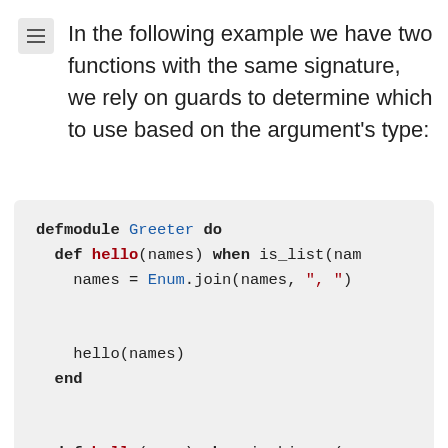In the following example we have two functions with the same signature, we rely on guards to determine which to use based on the argument's type:
[Figure (screenshot): Elixir code block showing defmodule Greeter with two def hello functions using guards is_list and is_binary]